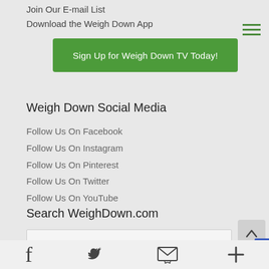Join Our E-mail List
Download the Weigh Down App
Sign Up for Weigh Down TV Today!
Weigh Down Social Media
Follow Us On Facebook
Follow Us On Instagram
Follow Us On Pinterest
Follow Us On Twitter
Follow Us On YouTube
Search WeighDown.com
Facebook | Twitter | Email | Plus icons